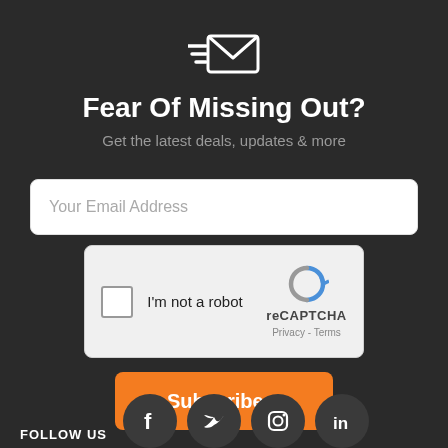[Figure (illustration): Fast email icon — envelope with speed lines on dark background]
Fear Of Missing Out?
Get the latest deals, updates & more
[Figure (screenshot): Email address input field with white background and rounded corners, placeholder text: Your Email Address]
[Figure (screenshot): reCAPTCHA widget with checkbox labeled I'm not a robot, reCAPTCHA logo, Privacy - Terms links]
[Figure (screenshot): Orange Subscribe button with right chevron]
FOLLOW US
[Figure (illustration): Social media icons row: Facebook, Twitter, Instagram, LinkedIn in dark circular buttons]